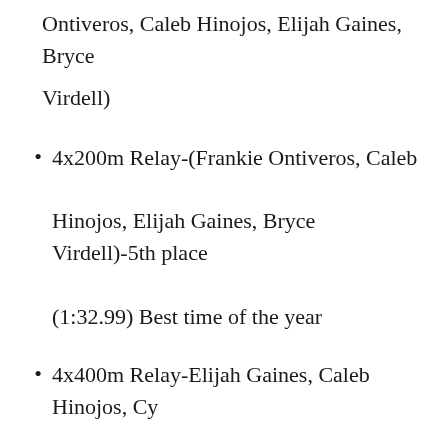Ontiveros, Caleb Hinojos, Elijah Gaines, Bryce Virdell)
4x200m Relay-(Frankie Ontiveros, Caleb Hinojos, Elijah Gaines, Bryce Virdell)-5th place (1:32.99) Best time of the year
4x400m Relay-Elijah Gaines, Caleb Hinojos, Cy Garcia, Bryce Virdell-4th place (3:37.25) Best time of the year
Long Jump-Bryce Virdell-2nd place (21′-4″) -